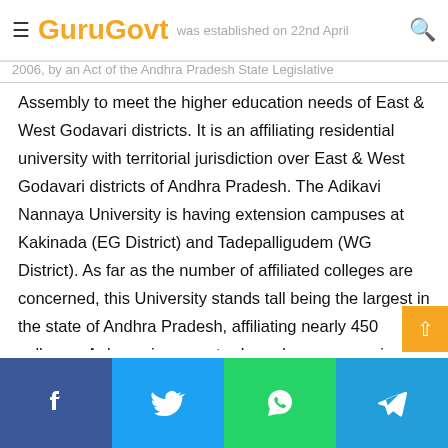GuruGovt — was established on 22nd April 2006, by an Act of the Andhra Pradesh State Legislative
Assembly to meet the higher education needs of East & West Godavari districts. It is an affiliating residential university with territorial jurisdiction over East & West Godavari districts of Andhra Pradesh. The Adikavi Nannaya University is having extension campuses at Kakinada (EG District) and Tadepalligudem (WG District). As far as the number of affiliated colleges are concerned, this University stands tall being the largest in the state of Andhra Pradesh, affiliating nearly 450 colleges. A dynamic semester-based courseware is created by integrating the traditional syllabus with the latest trends across disciplines to suit the current industry, employability and professional requirements.
Facebook | Twitter | WhatsApp | Telegram